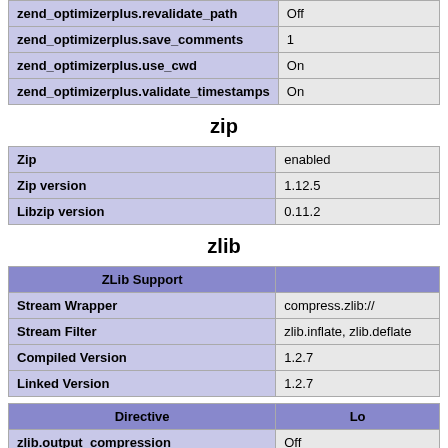| zend_optimizerplus.revalidate_path | Off |
| zend_optimizerplus.save_comments | 1 |
| zend_optimizerplus.use_cwd | On |
| zend_optimizerplus.validate_timestamps | On |
zip
| Zip | enabled |
| Zip version | 1.12.5 |
| Libzip version | 0.11.2 |
zlib
| ZLib Support |  |
| --- | --- |
| Stream Wrapper | compress.zlib:// |
| Stream Filter | zlib.inflate, zlib.deflate |
| Compiled Version | 1.2.7 |
| Linked Version | 1.2.7 |
| Directive | Lo |
| --- | --- |
| zlib.output_compression | Off |